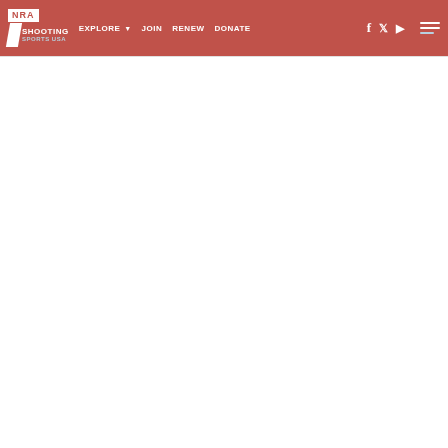NRA Shooting Sports USA — EXPLORE | JOIN | RENEW | DONATE
[Figure (screenshot): NRA Shooting Sports USA website navigation bar with logo, nav links (EXPLORE, JOIN, RENEW, DONATE), social media icons (Facebook, Twitter, YouTube), and hamburger menu. Background is muted red/coral color. Below navbar is a mostly blank white page content area.]